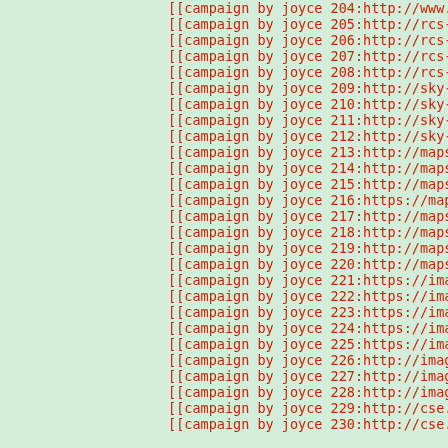[[campaign by joyce 204:http://www.bing.com/new...
[[campaign by joyce 205:http://rcs-acs-prod-us...
[[campaign by joyce 206:http://rcs-acs-prod-us...
[[campaign by joyce 207:http://rcs-acs-prod-us...
[[campaign by joyce 208:http://rcs-acs-prod-us...
[[campaign by joyce 209:http://sky-lego.sandbox...
[[campaign by joyce 210:http://sky-lego.sandbox...
[[campaign by joyce 211:http://sky-lego.sandbox...
[[campaign by joyce 212:http://sky-lego.sandbox...
[[campaign by joyce 213:http://maps.google.com...
[[campaign by joyce 214:http://maps.google.com...
[[campaign by joyce 215:http://maps.google.be/u...
[[campaign by joyce 216:https://maps.google.gr/...
[[campaign by joyce 217:http://maps.google.pt/u...
[[campaign by joyce 218:http://maps.google.ro/u...
[[campaign by joyce 219:http://maps.google.se/u...
[[campaign by joyce 220:http://maps.google.co.t...
[[campaign by joyce 221:https://images.google.c...
[[campaign by joyce 222:https://images.google.c...
[[campaign by joyce 223:https://images.google.b...
[[campaign by joyce 224:https://images.google.g...
[[campaign by joyce 225:https://images.google.p...
[[campaign by joyce 226:http://images.google.ro...
[[campaign by joyce 227:http://images.google.se...
[[campaign by joyce 228:http://images.google.co...
[[campaign by joyce 229:http://cse.google.com.a...
[[campaign by joyce 230:http://cse.google.co...